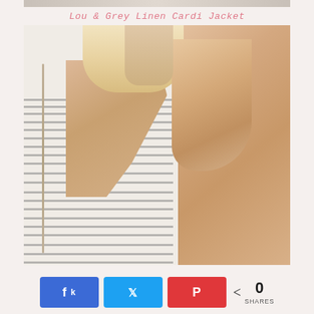[Figure (photo): Top strip of a previous product photo visible at the very top of the page]
Lou & Grey Linen Cardi Jacket
[Figure (photo): Product photo showing the back view of a blonde woman wearing a white and grey striped racerback top/jacket with a zipper detail down the center back. Her bare shoulder and back are visible.]
[Figure (infographic): Social share bar with Facebook, Twitter, and Pinterest share buttons, a share icon, the number 0, and the label SHARES]